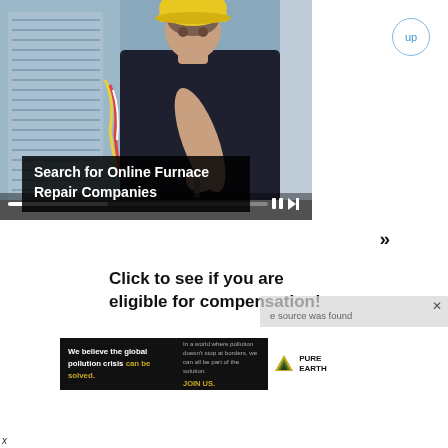[Figure (photo): A male HVAC technician wearing a yellow hard hat and dark t-shirt working on an air conditioning unit outdoors. Video player controls overlay the bottom of the image.]
Search for Online Furnace Repair Companies
»
Click to see if you are eligible for compensation!
[Figure (other): Pure Earth advertisement banner: 'We believe the global pollution crisis can be solved. In a world where pollution doesn't stop at borders, we can all be part of the solution. JOIN US.' with Pure Earth logo.]